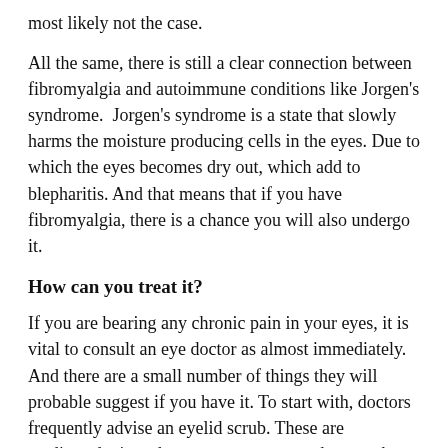most likely not the case.
All the same, there is still a clear connection between fibromyalgia and autoimmune conditions like Jorgen's syndrome. Jorgen's syndrome is a state that slowly harms the moisture producing cells in the eyes. Due to which the eyes becomes dry out, which add to blepharitis. And that means that if you have fibromyalgia, there is a chance you will also undergo it.
How can you treat it?
If you are bearing any chronic pain in your eyes, it is vital to consult an eye doctor as almost immediately. And there are a small number of things they will probable suggest if you have it. To start with, doctors frequently advise an eyelid scrub. These are medicated wipes that you can use to wash away the bio film that supplies nutrients for the mites that cause blepharitis.
And if that is not sufficient to alleviate your symptoms, you can also have some alternating thing called an electromechanical lid margin debridement. Fundamentally, this is a process where the doctor uses a particular instrument to take away the bacteria and mites from your